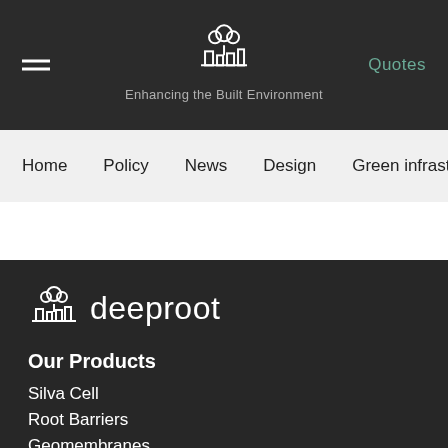Enhancing the Built Environment
[Figure (logo): Deeproot logo icon - tree above architectural structures made of white lines, in header]
Quotes
Home
Policy
News
Design
Green infrastructure
[Figure (logo): Deeproot full logo - tree/architecture icon followed by text 'deeproot' in footer]
Our Products
Silva Cell
Root Barriers
Geomembranes